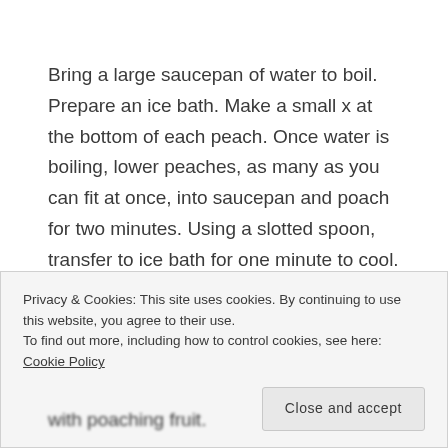Bring a large saucepan of water to boil. Prepare an ice bath. Make a small x at the bottom of each peach. Once water is boiling, lower peaches, as many as you can fit at once, into saucepan and poach for two minutes. Using a slotted spoon, transfer to ice bath for one minute to cool. Transfer peaches to cutting board and peel the skins. In most cases, the boiling-then-cold water will
Privacy & Cookies: This site uses cookies. By continuing to use this website, you agree to their use.
To find out more, including how to control cookies, see here: Cookie Policy
Close and accept
with poaching fruit.